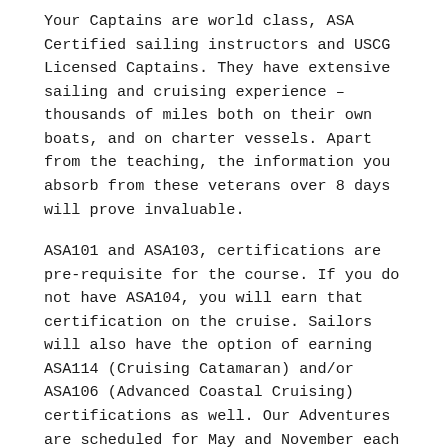Your Captains are world class, ASA Certified sailing instructors and USCG Licensed Captains. They have extensive sailing and cruising experience – thousands of miles both on their own boats, and on charter vessels. Apart from the teaching, the information you absorb from these veterans over 8 days will prove invaluable.
ASA101 and ASA103, certifications are pre-requisite for the course. If you do not have ASA104, you will earn that certification on the cruise. Sailors will also have the option of earning ASA114 (Cruising Catamaran) and/or ASA106 (Advanced Coastal Cruising) certifications as well. Our Adventures are scheduled for May and November each year.
We typically have two 45 foot catamarans, and depending on the demand we may have a 51 foot monohull. All boats have 4 double air conditioned